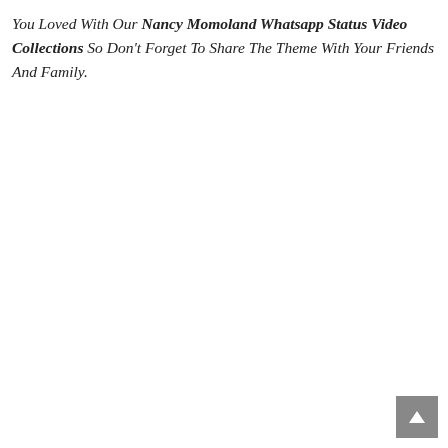You Loved With Our Nancy Momoland Whatsapp Status Video Collections So Don't Forget To Share The Theme With Your Friends And Family.